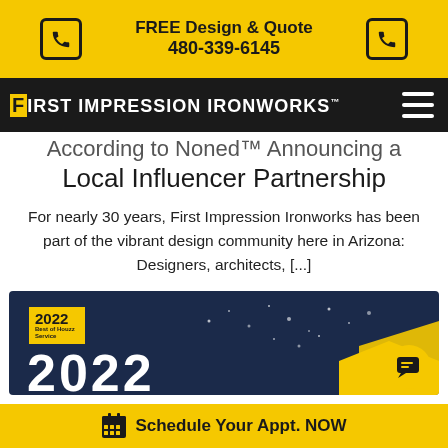FREE Design & Quote 480-339-6145
FIRST IMPRESSION IRONWORKS™
According to Noned™ Announcing a Local Influencer Partnership
For nearly 30 years, First Impression Ironworks has been part of the vibrant design community here in Arizona: Designers, architects, [...]
[Figure (other): Dark blue promotional card showing 2022 Best of Houzz Service badge and partially visible '2022' large text with decorative stars and yellow arrow]
Schedule Your Appt. NOW